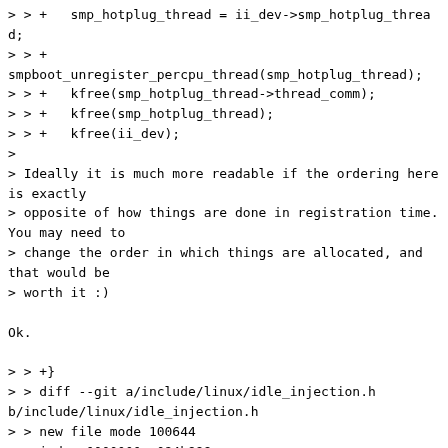> > +   smp_hotplug_thread = ii_dev->smp_hotplug_thread;
> > +
smpboot_unregister_percpu_thread(smp_hotplug_thread);
> > +   kfree(smp_hotplug_thread->thread_comm);
> > +   kfree(smp_hotplug_thread);
> > +   kfree(ii_dev);
>
> Ideally it is much more readable if the ordering here is exactly
> opposite of how things are done in registration time. You may need to
> change the order in which things are allocated, and that would be
> worth it :)

Ok.

> > +}
> > diff --git a/include/linux/idle_injection.h b/include/linux/idle_injection.h
> > new file mode 100644
> > index 0000000..084b999
> > --- /dev/null
> > +++ b/include/linux/idle_injection.h
> > @@ -0,0 +1,62 @@
> > +/* SPDX-License-Identifier: GPL-2.0 */
> > +/*
> > + * Copyright (C) 2018 Linaro Ltd
> > + *